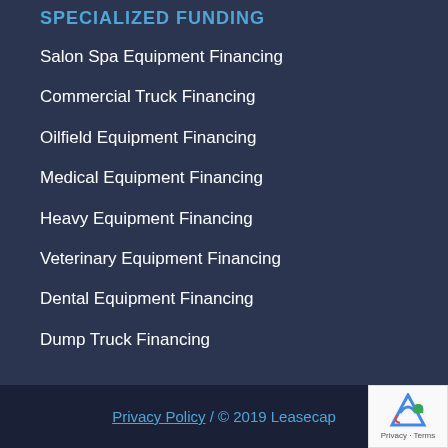SPECIALIZED FUNDING
Salon Spa Equipment Financing
Commercial Truck Financing
Oilfield Equipment Financing
Medical Equipment Financing
Heavy Equipment Financing
Veterinary Equipment Financing
Dental Equipment Financing
Dump Truck Financing
Privacy Policy / © 2019 Leasecap